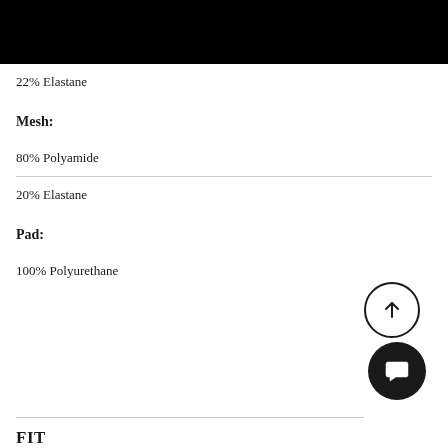22% Elastane
Mesh:
80% Polyamide
20% Elastane
Pad:
100% Polyurethane
FIT